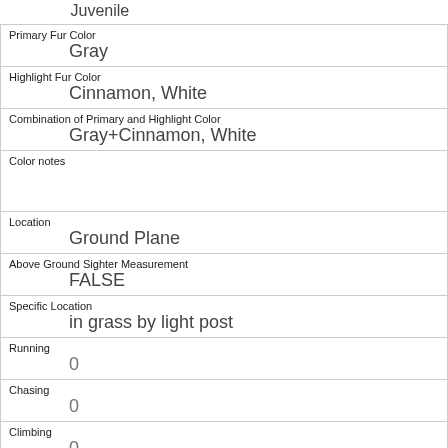| Juvenile |
| Primary Fur Color | Gray |
| Highlight Fur Color | Cinnamon, White |
| Combination of Primary and Highlight Color | Gray+Cinnamon, White |
| Color notes |  |
| Location | Ground Plane |
| Above Ground Sighter Measurement | FALSE |
| Specific Location | in grass by light post |
| Running | 0 |
| Chasing | 0 |
| Climbing | 0 |